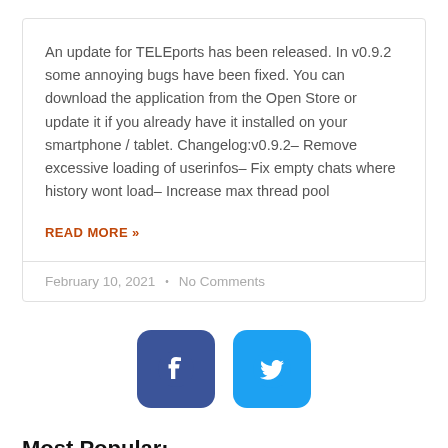An update for TELEports has been released. In v0.9.2 some annoying bugs have been fixed. You can download the application from the Open Store or update it if you already have it installed on your smartphone / tablet. Changelog:v0.9.2– Remove excessive loading of userinfos– Fix empty chats where history wont load– Increase max thread pool
READ MORE »
February 10, 2021  •  No Comments
[Figure (logo): Facebook and Twitter social media icon buttons side by side]
Most Popular: